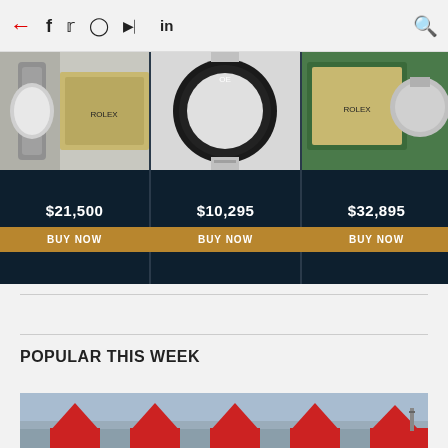← f 🐦 📷 ▶ in 🔍
[Figure (screenshot): Three Rolex watch product cards with dark navy backgrounds, each showing a watch image at top and price with BUY NOW button below. Prices: $21,500, $10,295, $32,895.]
POPULAR THIS WEEK
[Figure (photo): Row of red-tailed aircraft at an airport, sky visible in background.]